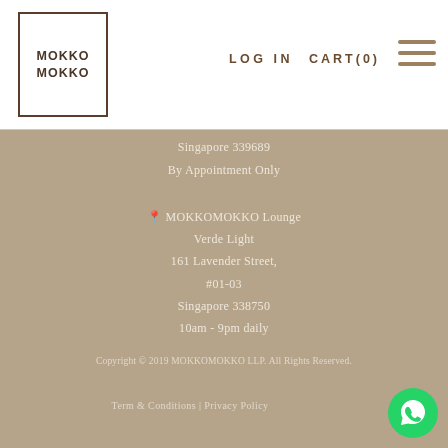[Figure (logo): MOKKOMOKKO logo in a square border]
LOG IN   CART(0)
Singapore 339689
By Appointment Only
MOKKOMOKKO Lounge
Verde Light
161 Lavender Street,
#01-03
Singapore 338750
10am - 9pm daily
Copyright © 2019 MOKKOMOKKO LLP. All Rights Reserved.
Term & Conditions | Privacy Policy